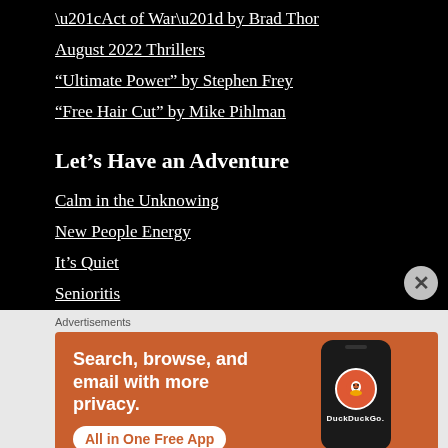“Act of War” by Brad Thor
August 2022 Thrillers
“Ultimate Power” by Stephen Frey
“Free Hair Cut” by Mike Pihlman
Let’s Have an Adventure
Calm in the Unknowing
New People Energy
It’s Quiet
Senioritis
Advertisements
[Figure (other): DuckDuckGo advertisement banner: orange background with text 'Search, browse, and email with more privacy. All in One Free App' and a phone displaying the DuckDuckGo logo and name.]